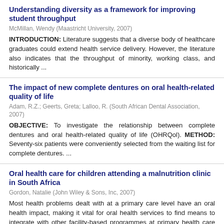Understanding diversity as a framework for improving student throughput
McMillan, Wendy (Maastricht University, 2007)
INTRODUCTION: Literature suggests that a diverse body of healthcare graduates could extend health service delivery. However, the literature also indicates that the throughput of minority, working class, and historically ...
The impact of new complete dentures on oral health-related quality of life
Adam, R.Z.; Geerts, Greta; Lalloo, R. (South African Dental Association, 2007)
OBJECTIVE: To investigate the relationship between complete dentures and oral health-related quality of life (OHRQol). METHOD: Seventy-six patients were conveniently selected from the waiting list for complete dentures. ...
Oral health care for children attending a malnutrition clinic in South Africa
Gordon, Natalie (John Wiley & Sons, Inc, 2007)
Most health problems dealt with at a primary care level have an oral health impact, making it vital for oral health services to find means to integrate with other facility-based programmes at primary health care (PHC) ...